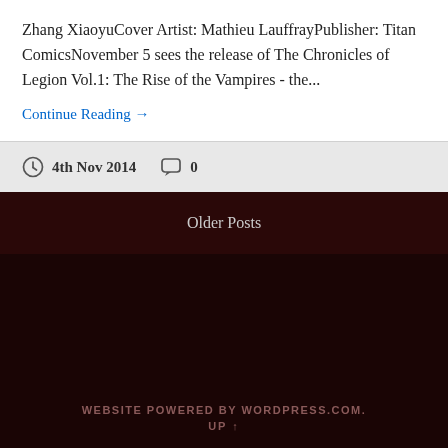Zhang XiaoyuCover Artist: Mathieu LauffrayPublisher: Titan ComicsNovember 5 sees the release of The Chronicles of Legion Vol.1: The Rise of the Vampires - the...
Continue Reading →
4th Nov 2014   0
Older Posts
WEBSITE POWERED BY WORDPRESS.COM. UP ↑